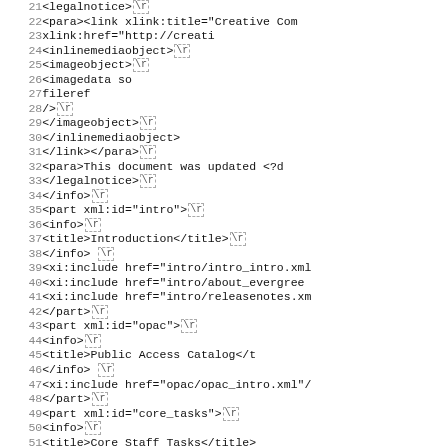Code listing lines 21-52, XML source file snippet
| line | code |
| --- | --- |
| 21 | <legalnotice> \r |
| 22 |     <para><link xlink:title="Creative Com |
| 23 |                 xlink:href="http://creati |
| 24 |                     <inlinemediaobject> \r |
| 25 |                         <imageobject> \r |
| 26 |                             <imagedata so |
| 27 |                                 fileref |
| 28 |                                 />  \r |
| 29 |                         </imageobject> \r |
| 30 |                     </inlinemediaobject> |
| 31 |                 </link></para> \r |
| 32 |                 <para>This document was updated <?d |
| 33 |             </legalnotice> \r |
| 34 |         </info> \r |
| 35 |         <part xml:id="intro"> \r |
| 36 |             <info> \r |
| 37 |                 <title>Introduction</title> \r |
| 38 |             </info>  \r |
| 39 |             <xi:include href="intro/intro_intro.xml |
| 40 |             <xi:include href="intro/about_evergree |
| 41 |             <xi:include href="intro/releasenotes.xm |
| 42 |         </part> \r |
| 43 |         <part xml:id="opac"> \r |
| 44 |             <info> \r |
| 45 |                 <title>Public Access Catalog</t |
| 46 |             </info>  \r |
| 47 |             <xi:include href="opac/opac_intro.xml"/ |
| 48 |         </part> \r |
| 49 |         <part xml:id="core_tasks"> \r |
| 50 |             <info> \r |
| 51 |                 <title>Core Staff Tasks</title> |
| 52 |         </info>  \r |